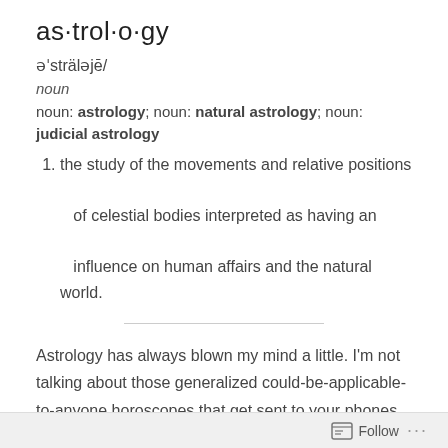as·trol·o·gy
əˈsträləjē/
noun
noun: astrology; noun: natural astrology; noun: judicial astrology
1. the study of the movements and relative positions of celestial bodies interpreted as having an influence on human affairs and the natural world.
Astrology has always blown my mind a little. I'm not talking about those generalized could-be-applicable-to-anyone horoscopes that get sent to your phones or that you read in the newspaper... that's a bunch of malarkey and you know it. I'm talking about the idea that our personalities are somehow at least a little
Follow ...